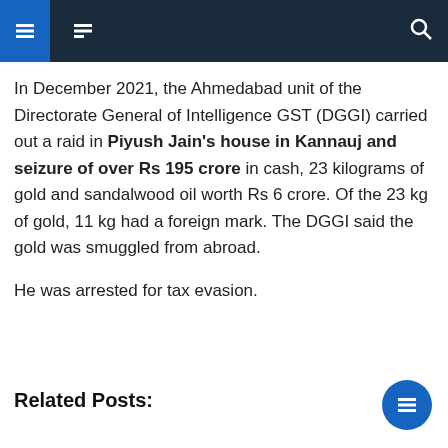Navigation bar with menu icons and search
In December 2021, the Ahmedabad unit of the Directorate General of Intelligence GST (DGGI) carried out a raid in Piyush Jain's house in Kannauj and seizure of over Rs 195 crore in cash, 23 kilograms of gold and sandalwood oil worth Rs 6 crore. Of the 23 kg of gold, 11 kg had a foreign mark. The DGGI said the gold was smuggled from abroad.
He was arrested for tax evasion.
Related Posts:
1. MORE PROMOTED NEWS — article link text